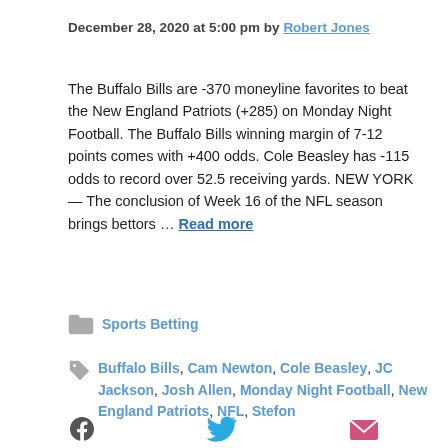December 28, 2020 at 5:00 pm by Robert Jones
The Buffalo Bills are -370 moneyline favorites to beat the New England Patriots (+285) on Monday Night Football. The Buffalo Bills winning margin of 7-12 points comes with +400 odds. Cole Beasley has -115 odds to record over 52.5 receiving yards. NEW YORK — The conclusion of Week 16 of the NFL season brings bettors … Read more
Sports Betting
Buffalo Bills, Cam Newton, Cole Beasley, JC Jackson, Josh Allen, Monday Night Football, New England Patriots, NFL, Stefon